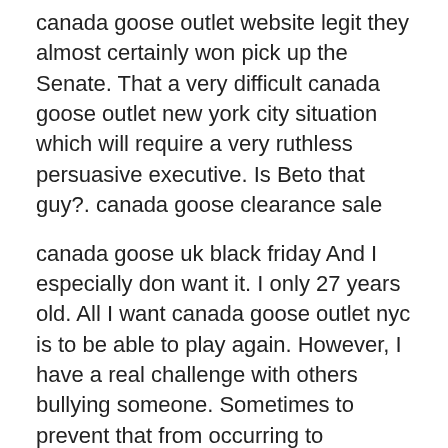canada goose outlet website legit they almost certainly won pick up the Senate. That a very difficult canada goose outlet new york city situation which will require a very ruthless persuasive executive. Is Beto that guy?. canada goose clearance sale
canada goose uk black friday And I especially don want it. I only 27 years old. All I want canada goose outlet nyc is to be able to play again. However, I have a real challenge with others bullying someone. Sometimes to prevent that from occurring to someone a position of strength is taken. Then the bully cries victim. canada goose uk black friday
buy canada goose jacket cheap Ray's father, Sam Cantrell, was a powerhouse pitcher whose baseball career ended after he was hit with an elbow shattering